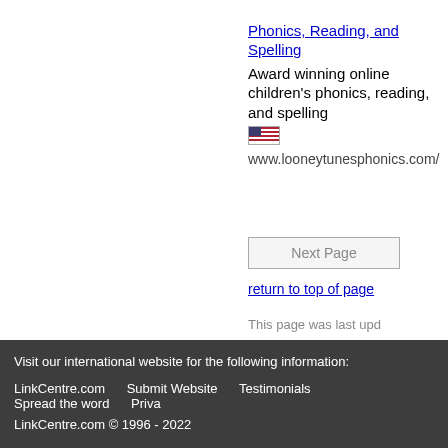Phonics, Reading, and Spelling
Award winning online children's phonics, reading, and spelling
www.looneytunesphonics.com/
Next Page
return to top of page
This page was last upd
Visit our international website for the following information:
LinkCentre.com   Submit Website   Testimonials   Spread the word   Priva
LinkCentre.com © 1996 - 2022